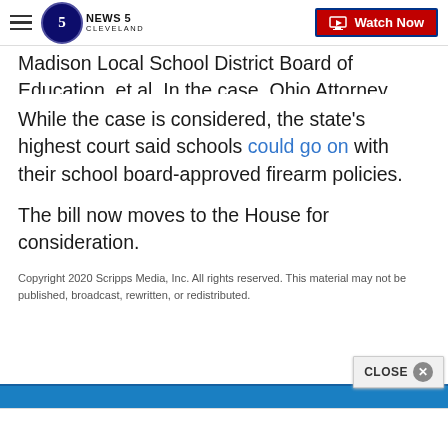NEWS 5 CLEVELAND | Watch Now
Madison Local School District Board of Education, et al. In the case, Ohio Attorney General filed his support for school district authorization of firearms policies.
While the case is considered, the state's highest court said schools could go on with their school board-approved firearm policies.
The bill now moves to the House for consideration.
Copyright 2020 Scripps Media, Inc. All rights reserved. This material may not be published, broadcast, rewritten, or redistributed.
[Figure (screenshot): Advertisement bar with CLOSE button and dismiss X button at bottom of page]